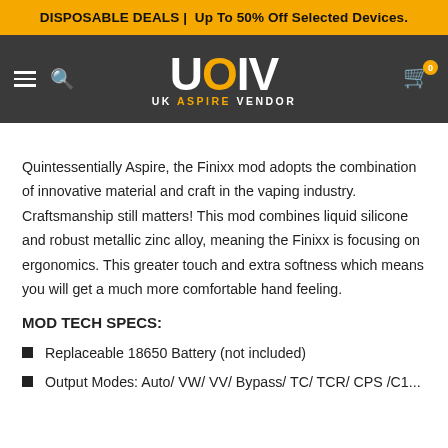DISPOSABLE DEALS | Up To 50% Off Selected Devices.
[Figure (logo): UK Aspire Vendor logo with navigation bar on dark grey background. Hamburger menu icon, search icon on the left. Large stylized 'UOV' letters in white and gold with 'UK ASPIRE VENDOR' text below in center. Shopping cart icon with badge '0' on right.]
Quintessentially Aspire, the Finixx mod adopts the combination of innovative material and craft in the vaping industry. Craftsmanship still matters! This mod combines liquid silicone and robust metallic zinc alloy, meaning the Finixx is focusing on ergonomics. This greater touch and extra softness which means you will get a much more comfortable hand feeling.
MOD TECH SPECS:
Replaceable 18650 Battery (not included)
Output Modes: Auto/ VW/ VV/ Bypass/ TC/ TCR/ CPS /C1...